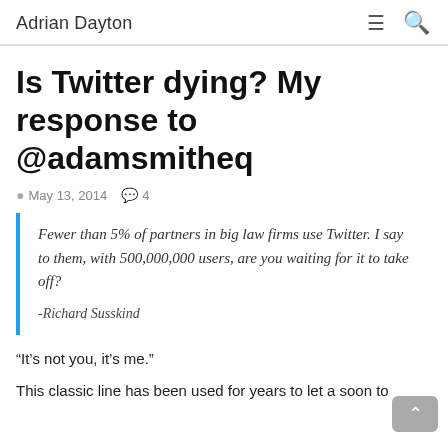Adrian Dayton
Is Twitter dying? My response to @adamsmitheq
May 13, 2014   4
Fewer than 5% of partners in big law firms use Twitter. I say to them, with 500,000,000 users, are you waiting for it to take off?
-Richard Susskind
“It’s not you, it’s me.”
This classic line has been used for years to let a soon to